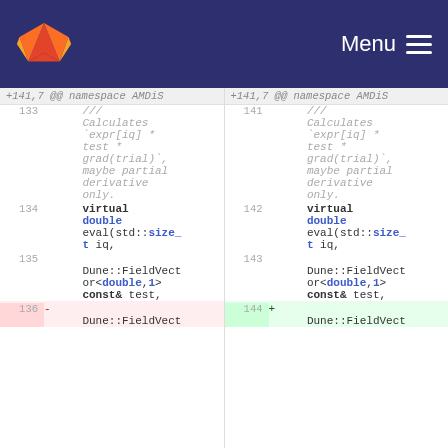GitLab Menu
+141,7 @@ namespace AMDiS
133 141 /// Calculates `expr[iq] * test * grad(trial)`, maybe partial derivative only.
134 142  virtual double eval(std::size_t iq,
135 143  Dune::FieldVector<double,1> const& test,
136 - 144 + Dune::FieldVect